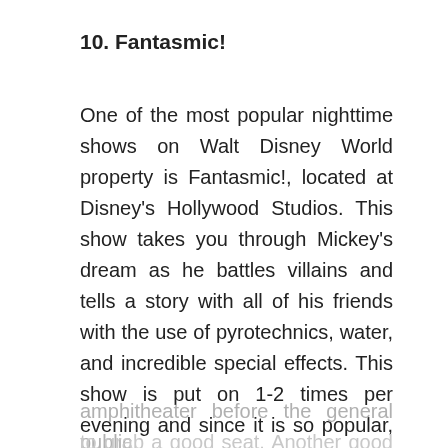10. Fantasmic!
One of the most popular nighttime shows on Walt Disney World property is Fantasmic!, located at Disney's Hollywood Studios. This show takes you through Mickey's dream as he battles villains and tells a story with all of his friends with the use of pyrotechnics, water, and incredible special effects. This show is put on 1-2 times per evening and since it is so popular, it often reaches capacity quickly. Fastpasses are available for this event, which will allow you to enter the amphitheater before the general public to grab a good seat. Another good tip is